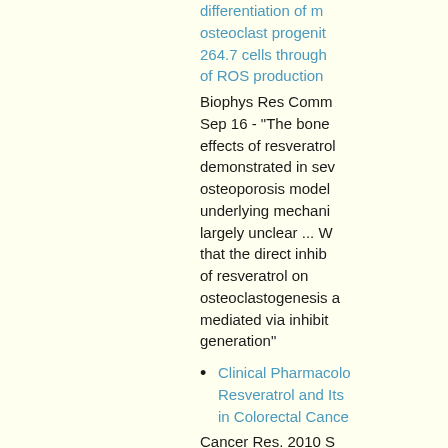differentiation of monocytes/osteoclast progenitor RAW 264.7 cells through suppression of ROS production
Biophys Res Commun. 2009 Sep 16 - "The bone protective effects of resveratrol have been demonstrated in several animal osteoporosis models, but the underlying mechanisms remain largely unclear ... We suggest that the direct inhibitory effect of resveratrol on osteoclastogenesis appears to be mediated via inhibiting ROS generation"
Clinical Pharmacology of Resveratrol and Its Potential as an Anticancer Agent in Colorectal Cancer
Cancer Res. 2010 S "Consumption of resveratrol reduced tumor cell proliferation by 5%... The results suggest p.o. doses of resver...